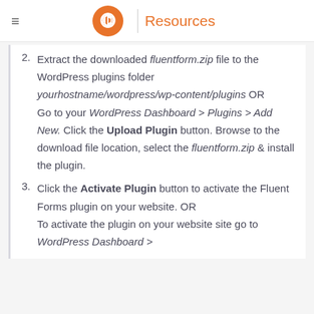Resources
Extract the downloaded fluentform.zip file to the WordPress plugins folder yourhostname/wordpress/wp-content/plugins OR Go to your WordPress Dashboard > Plugins > Add New. Click the Upload Plugin button. Browse to the download file location, select the fluentform.zip & install the plugin.
Click the Activate Plugin button to activate the Fluent Forms plugin on your website. OR To activate the plugin on your website site go to WordPress Dashboard >